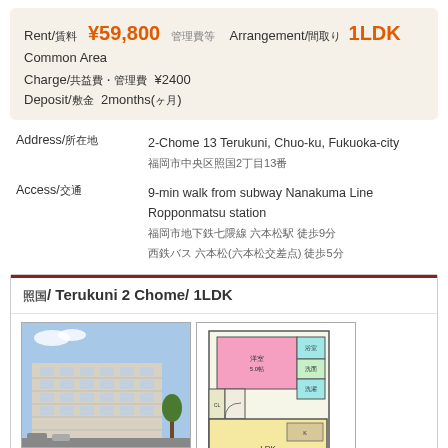Rent/賃料 ¥59,800 管理費等 Arrangement/間取り 1LDK Common Area Charge/共益費・管理費 ¥2400 Deposit/敷金 2months(ヶ月)
| Field | Value |
| --- | --- |
| Address/所在地 | 2-Chome 13 Terukuni, Chuo-ku, Fukuoka-city
福岡市中央区照国2丁目13番 |
| Access/交通 | 9-min walk from subway Nanakuma Line Ropponmatsu station
福岡市地下鉄七隈線 六本松駅 徒歩9分
西鉄バス 六本松(六本松交差点) 徒歩5分 |
照国/ Terukuni 2 Chome/ 1LDK
[Figure (photo): Exterior photo of a multi-story apartment building]
[Figure (engineering-diagram): Floor plan of 1LDK apartment unit showing bedroom, living/dining/kitchen area, bath, and storage]